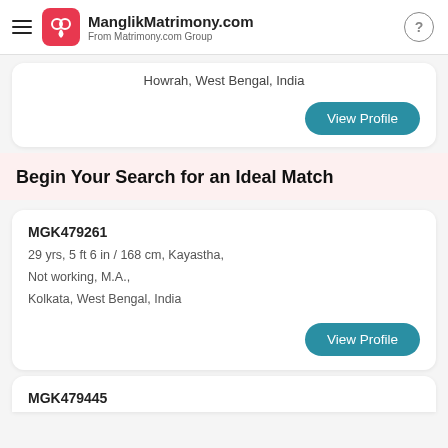ManglikMatrimony.com — From Matrimony.com Group
Howrah, West Bengal, India
View Profile
Begin Your Search for an Ideal Match
MGK479261
29 yrs, 5 ft 6 in / 168 cm, Kayastha, Not working, M.A., Kolkata, West Bengal, India
View Profile
MGK479445